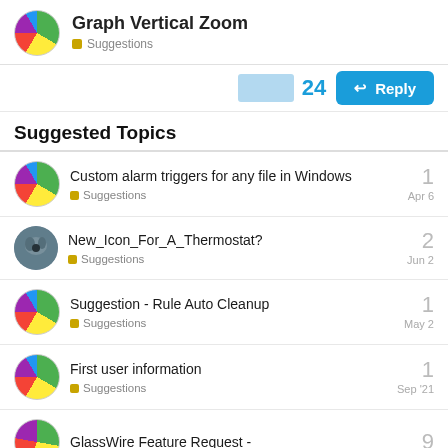Graph Vertical Zoom — Suggestions
Suggested Topics
Custom alarm triggers for any file in Windows — Suggestions — Apr 6 — 1 reply
New_Icon_For_A_Thermostat? — Suggestions — Jun 2 — 2 replies
Suggestion - Rule Auto Cleanup — Suggestions — May 2 — 1 reply
First user information — Suggestions — Sep '21 — 1 reply
GlassWire Feature Request - — 9 replies